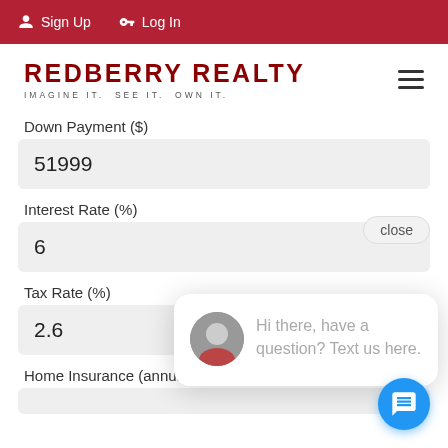Sign Up | Log In
REDBERRY REALTY — IMAGINE IT. SEE IT. OWN IT.
Down Payment ($)
51999
Interest Rate (%)
6
Tax Rate (%)
2.6
Home Insurance (annually)
[Figure (screenshot): Chat popup with agent avatar and message: Hi there, have a question? Text us here. With close button and blue chat FAB.]